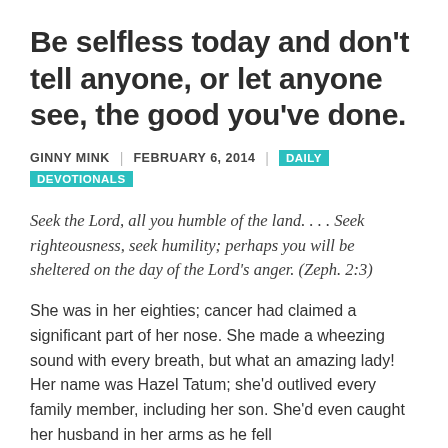Be selfless today and don't tell anyone, or let anyone see, the good you've done.
GINNY MINK | FEBRUARY 6, 2014 | DAILY DEVOTIONALS
Seek the Lord, all you humble of the land. . . . Seek righteousness, seek humility; perhaps you will be sheltered on the day of the Lord's anger. (Zeph. 2:3)
She was in her eighties; cancer had claimed a significant part of her nose. She made a wheezing sound with every breath, but what an amazing lady! Her name was Hazel Tatum; she'd outlived every family member, including her son. She'd even caught her husband in her arms as he fell